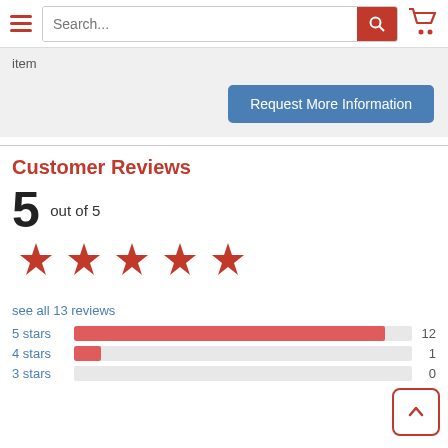Search... [search button] [cart icon]
item
Request More Information
Customer Reviews
5 out of 5
[Figure (infographic): Five red star rating icons]
see all 13 reviews
[Figure (bar-chart): Star rating distribution]